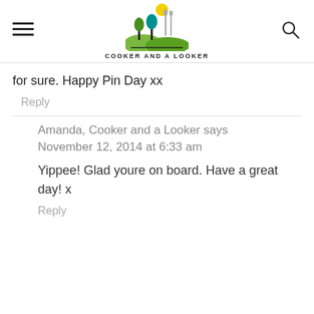COOKER AND A LOOKER
for sure. Happy Pin Day xx
Reply
Amanda, Cooker and a Looker says
November 12, 2014 at 6:33 am
Yippee! Glad youre on board. Have a great day! x
Reply